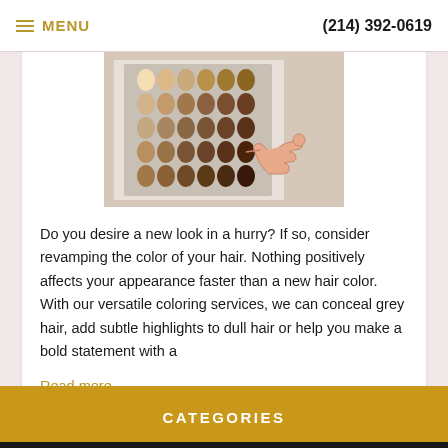≡ MENU   (214) 392-0619
[Figure (photo): A hand pointing to a hair color swatch chart showing rows of small oval color samples ranging from dark brown to light blonde, mounted on a white background.]
Do you desire a new look in a hurry? If so, consider revamping the color of your hair. Nothing positively affects your appearance faster than a new hair color. With our versatile coloring services, we can conceal grey hair, add subtle highlights to dull hair or help you make a bold statement with a
Read more
CATEGORIES